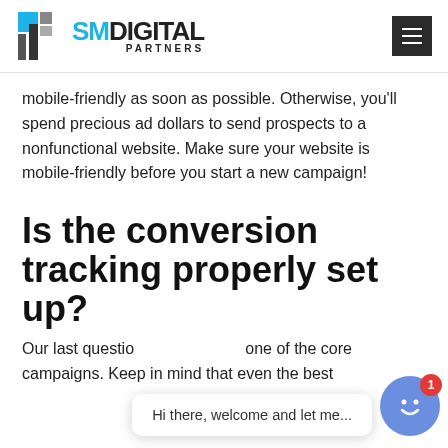[Figure (logo): SM Digital Partners logo with blue and gray icon squares and black text]
mobile-friendly as soon as possible. Otherwise, you'll spend precious ad dollars to send prospects to a nonfunctional website. Make sure your website is mobile-friendly before you start a new campaign!
Is the conversion tracking properly set up?
Our last questio... ki one of the core ... ds campaigns. Keep in mind that even the best
[Figure (screenshot): Chat widget overlay with bubble saying 'Hi there, welcome and let me...' and blue avatar with smiley face and red badge showing 1]